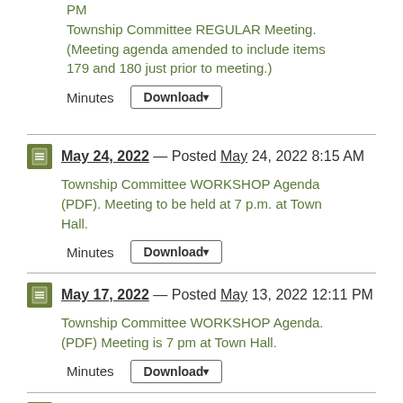PM Township Committee REGULAR Meeting. (Meeting agenda amended to include items 179 and 180 just prior to meeting.)
Minutes  Download
May 24, 2022 — Posted May 24, 2022 8:15 AM Township Committee WORKSHOP Agenda (PDF). Meeting to be held at 7 p.m. at Town Hall.
Minutes  Download
May 17, 2022 — Posted May 13, 2022 12:11 PM Township Committee WORKSHOP Agenda. (PDF) Meeting is 7 pm at Town Hall.
Minutes  Download
May 17, 2022 — Amended May 17, 2022 4:56 PM